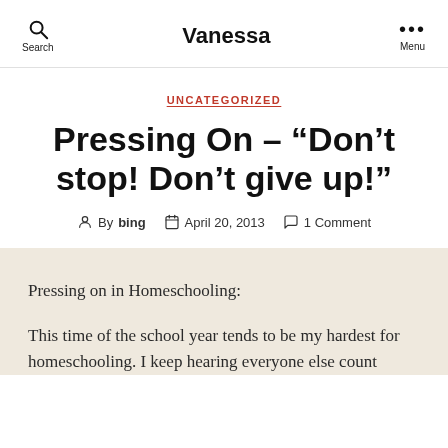Vanessa
UNCATEGORIZED
Pressing On – “Don’t stop! Don’t give up!”
By bing   April 20, 2013   1 Comment
Pressing on in Homeschooling:
This time of the school year tends to be my hardest for homeschooling.  I keep hearing everyone else count